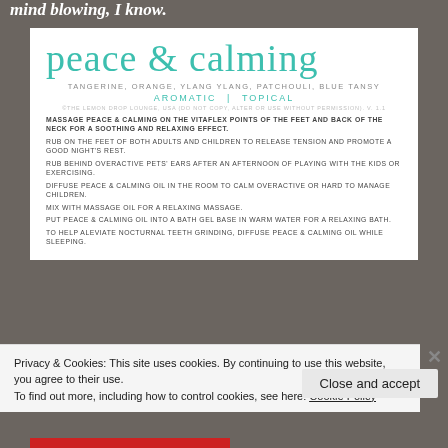mind blowing, I know.
peace & calming
TANGERINE, ORANGE, YLANG YLANG, PATCHOULI, BLUE TANSY
AROMATIC | TOPICAL
©THE LEMON DROP LOUNGE, USA (DO NOT COPY, ALTER OR USE WITHOUT PERMISSION). V. 1.1
MASSAGE PEACE & CALMING ON THE VITAFLEX POINTS OF THE FEET AND BACK OF THE NECK FOR A SOOTHING AND RELAXING EFFECT.
RUB ON THE FEET OF BOTH ADULTS AND CHILDREN TO RELEASE TENSION AND PROMOTE A GOOD NIGHT'S REST.
RUB BEHIND OVERACTIVE PETS' EARS AFTER AN AFTERNOON OF PLAYING WITH THE KIDS OR EXERCISING.
DIFFUSE PEACE & CALMING OIL IN THE ROOM TO CALM OVERACTIVE OR HARD TO MANAGE CHILDREN.
MIX WITH MASSAGE OIL FOR A RELAXING MASSAGE.
PUT PEACE & CALMING OIL INTO A BATH GEL BASE IN WARM WATER FOR A RELAXING BATH.
TO HELP ALEVIATE NOCTURNAL TEETH GRINDING, DIFFUSE PEACE & CALMING OIL WHILE SLEEPING.
Privacy & Cookies: This site uses cookies. By continuing to use this website, you agree to their use.
To find out more, including how to control cookies, see here: Cookie Policy
Close and accept